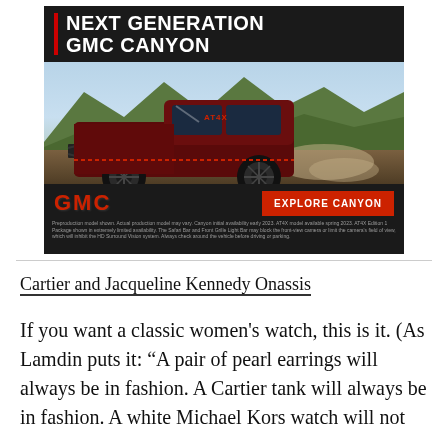[Figure (photo): GMC Canyon advertisement showing a dark red pickup truck on a dirt road with mountains in background. Text reads 'NEXT GENERATION GMC CANYON' with red vertical bar accent. Bottom bar shows GMC logo in red and 'EXPLORE CANYON' red button. Fine print disclaimer text at bottom.]
Cartier and Jacqueline Kennedy Onassis
If you want a classic women's watch, this is it. (As Lamdin puts it: “A pair of pearl earrings will always be in fashion. A Cartier tank will always be in fashion. A white Michael Kors watch will not